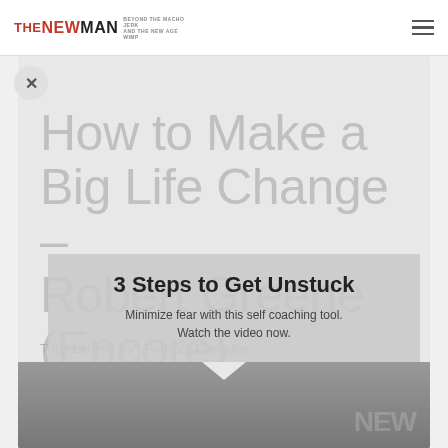THE NEW MAN — BEYOND THE MACHO JERK AND THE NEW AGE WIMP
How to Make a Big Life Change – Robert Greene (Encore)
[Figure (infographic): Popup overlay with text: 3 Steps to Get Unstuck. Minimize fear with this self coaching tool. Watch the video now.]
Tripp Lanier+ by | Podcast Episodes